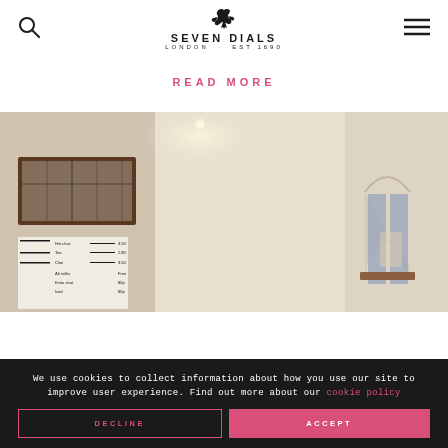Seven Dials London Est 1690 — navigation header with search and menu icons
READ MORE
[Figure (photo): Interior of a cafe/restaurant space with white walls, wooden windows with dark frames, recessed ceiling lights, and a menu board on the left wall listing items like Hot choc, Tea, Chai, Alt milks, Extra shot, Iced with prices. Arched window feature on the right side with blue curtains visible.]
We use cookies to collect information about how you use our site to improve user experience. Find out more about our cookie policy
DECLINE
ACCEPT